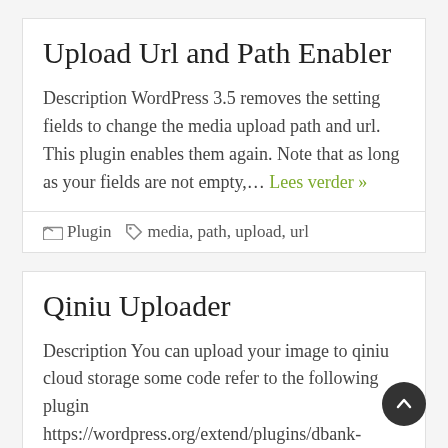Upload Url and Path Enabler
Description WordPress 3.5 removes the setting fields to change the media upload path and url. This plugin enables them again. Note that as long as your fields are not empty,… Lees verder »
Plugin   media, path, upload, url
Qiniu Uploader
Description You can upload your image to qiniu cloud storage some code refer to the following plugin https://wordpress.org/extend/plugins/dbank-